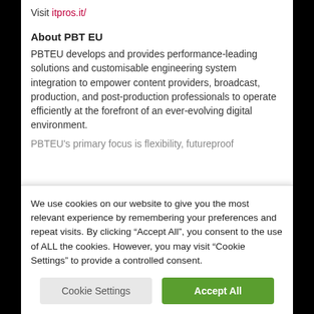Visit itpros.it/
About PBT EU
PBTEU develops and provides performance-leading solutions and customisable engineering system integration to empower content providers, broadcast, production, and post-production professionals to operate efficiently at the forefront of an ever-evolving digital environment.
PBTEU's primary focus is flexibility, futureproof
We use cookies on our website to give you the most relevant experience by remembering your preferences and repeat visits. By clicking “Accept All”, you consent to the use of ALL the cookies. However, you may visit “Cookie Settings” to provide a controlled consent.